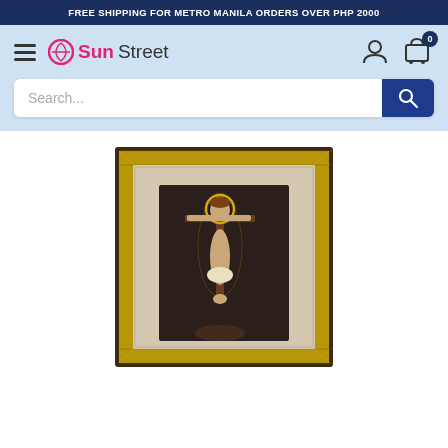FREE SHIPPING FOR METRO MANILA ORDERS OVER PHP 2000
[Figure (logo): SunStreet logo with circular icon, 'Sun' in pink and 'Street' in dark gray]
Search...
[Figure (photo): Framed religious artwork depicting Jesus Christ on the crucifix with a golden decorative frame and marble-style border]